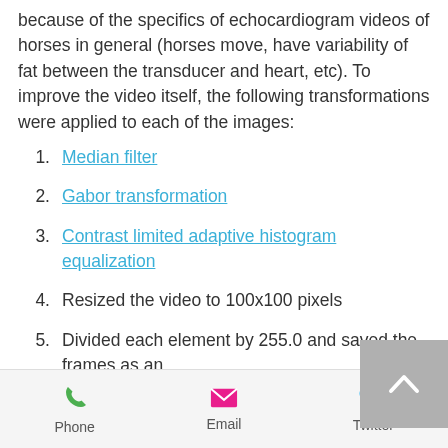because of the specifics of echocardiogram videos of horses in general (horses move, have variability of fat between the transducer and heart, etc). To improve the video itself, the following transformations were applied to each of the images:
1. Median filter
2. Gabor transformation
3. Contrast limited adaptive histogram equalization
4. Resized the video to 100x100 pixels
5. Divided each element by 255.0 and saved the frames as an
Phone  Email  Twitter